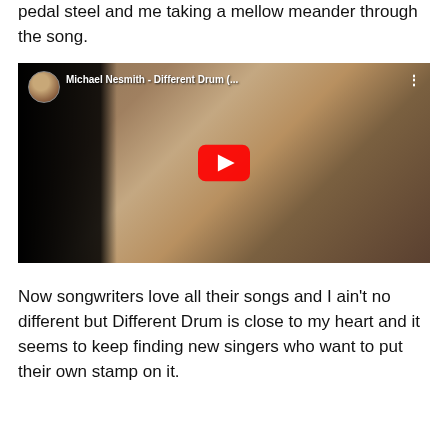pedal steel and me taking a mellow meander through the song.
[Figure (screenshot): YouTube video embed showing Michael Nesmith - Different Drum with a vintage album cover photo of a man sitting in a Victorian room with a woman in a white dress on the floor; red YouTube play button overlay.]
Now songwriters love all their songs and I ain't no different but Different Drum is close to my heart and it seems to keep finding new singers who want to put their own stamp on it.